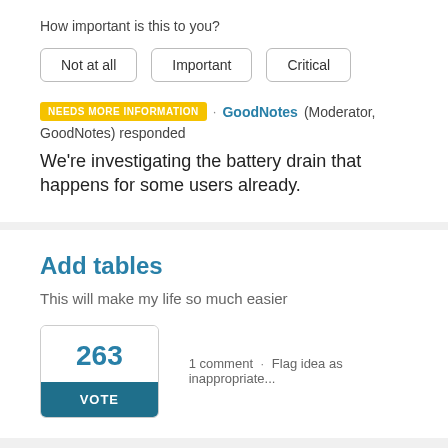How important is this to you?
Not at all
Important
Critical
NEEDS MORE INFORMATION · GoodNotes (Moderator, GoodNotes) responded
We're investigating the battery drain that happens for some users already.
Add tables
This will make my life so much easier
263
VOTE
1 comment · Flag idea as inappropriate...